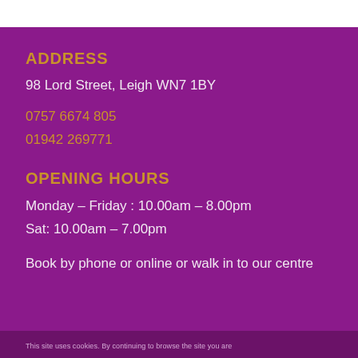ADDRESS
98 Lord Street, Leigh WN7 1BY
0757 6674 805
01942 269771
OPENING HOURS
Monday – Friday : 10.00am – 8.00pm
Sat: 10.00am – 7.00pm
Book by phone or online or walk in to our centre
This site uses cookies. By continuing to browse the site you are...